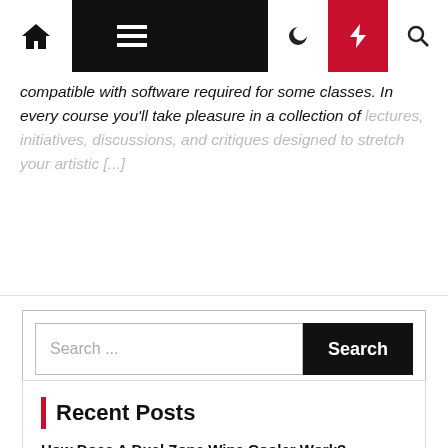Navigation bar with home, menu, moon, bolt, and search icons
compatible with software required for some classes. In every course you'll take pleasure in a collection of lectures, initiatives, discussions, and critiques designed to stretch your artistic [...]
Search ...
Recent Posts
How Does A Dual Zone Wine Cooler Work?
The Green Grass